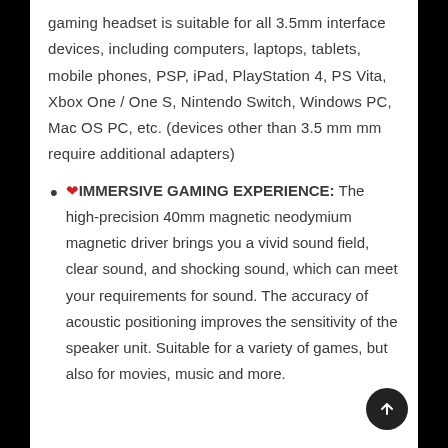gaming headset is suitable for all 3.5mm interface devices, including computers, laptops, tablets, mobile phones, PSP, iPad, PlayStation 4, PS Vita, Xbox One / One S, Nintendo Switch, Windows PC, Mac OS PC, etc. (devices other than 3.5 mm mm require additional adapters)
❤IMMERSIVE GAMING EXPERIENCE: The high-precision 40mm magnetic neodymium magnetic driver brings you a vivid sound field, clear sound, and shocking sound, which can meet your requirements for sound. The accuracy of acoustic positioning improves the sensitivity of the speaker unit. Suitable for a variety of games, but also for movies, music and more.